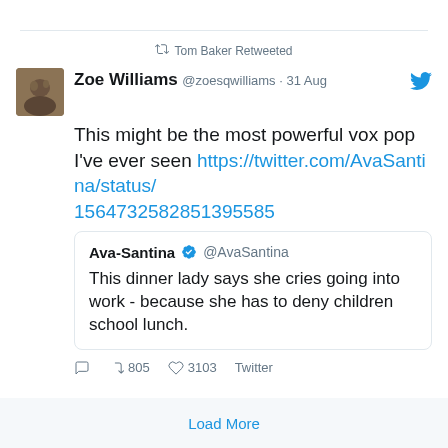Tom Baker Retweeted
Zoe Williams @zoesqwilliams · 31 Aug
This might be the most powerful vox pop I've ever seen https://twitter.com/AvaSantina/status/1564732582851395585
Ava-Santina @AvaSantina
This dinner lady says she cries going into work - because she has to deny children school lunch.
805  3103  Twitter
Load More